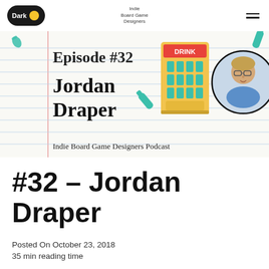Dark | Indie Board Game Designers
[Figure (illustration): Podcast episode banner for Episode #32 featuring Jordan Draper. Shows hand-drawn text 'Episode #32' and 'Jordan Draper' on lined notebook paper background, with illustrated vending machine labeled DRINK, person photo in circular frame, teal water bottles scattered around, and text 'Indie Board Game Designers Podcast' at bottom.]
#32 – Jordan Draper
Posted On October 23, 2018
35 min reading time